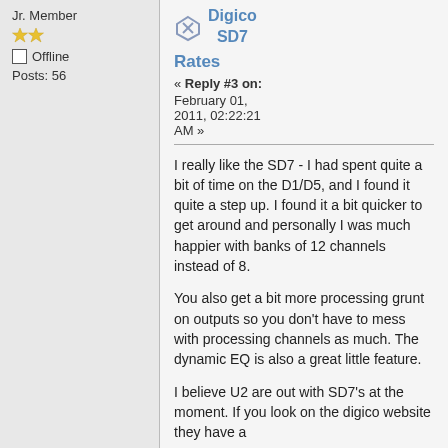Jr. Member
★★ (two stars)
Offline
Posts: 56
Digico SD7
Rates
« Reply #3 on: February 01, 2011, 02:22:21 AM »
I really like the SD7 - I had spent quite a bit of time on the D1/D5, and I found it quite a step up. I found it a bit quicker to get around and personally I was much happier with banks of 12 channels instead of 8.
You also get a bit more processing grunt on outputs so you don't have to mess with processing channels as much. The dynamic EQ is also a great little feature.
I believe U2 are out with SD7's at the moment. If you look on the digico website they have a